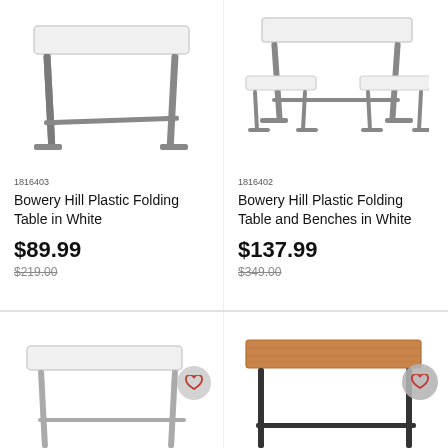[Figure (photo): White plastic folding table with gray metal legs, top view slightly angled]
1816403
Bowery Hill Plastic Folding Table in White
$89.99
$219.00
[Figure (photo): White plastic folding table with two benches and gray metal legs]
1816402
Bowery Hill Plastic Folding Table and Benches in White
$137.99
$349.00
[Figure (photo): White plastic folding table, partial view from bottom-left]
[Figure (photo): Brown wood-top folding table with black metal legs, partial view]